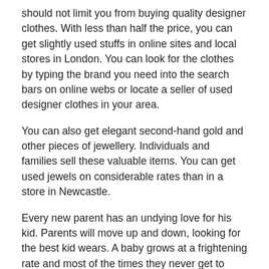should not limit you from buying quality designer clothes. With less than half the price, you can get slightly used stuffs in online sites and local stores in London. You can look for the clothes by typing the brand you need into the search bars on online webs or locate a seller of used designer clothes in your area.
You can also get elegant second-hand gold and other pieces of jewellery. Individuals and families sell these valuable items. You can get used jewels on considerable rates than in a store in Newcastle.
Every new parent has an undying love for his kid. Parents will move up and down, looking for the best kid wears. A baby grows at a frightening rate and most of the times they never get to wear some clothes you buy them. To avoid wastage, you are advised to buy your kid clothes in intervals. Shop in Leeds resale stores, and you will save hundreds in kids wear.
Furniture
Look for used and charming furniture. Shun away from ugly and worn out furniture's. In Liverpool stores, you will easily find high-